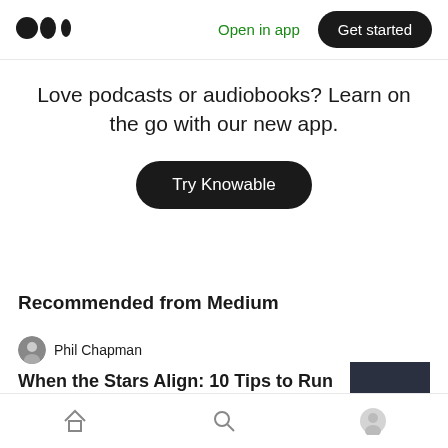Medium logo | Open in app | Get started
Love podcasts or audiobooks? Learn on the go with our new app.
Try Knowable
Recommended from Medium
Phil Chapman
When the Stars Align: 10 Tips to Run User
Home | Search | Profile